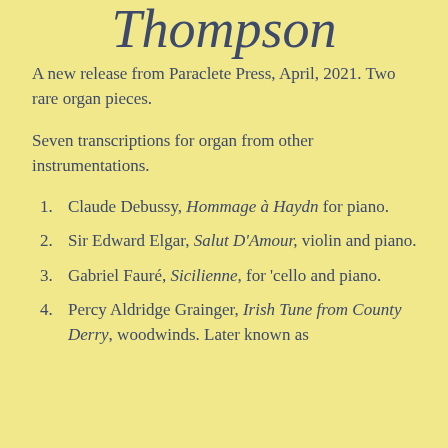Thompson
A new release from Paraclete Press, April, 2021. Two rare organ pieces.
Seven transcriptions for organ from other instrumentations.
Claude Debussy, Hommage à Haydn for piano.
Sir Edward Elgar, Salut D'Amour, violin and piano.
Gabriel Fauré, Sicilienne, for 'cello and piano.
Percy Aldridge Grainger, Irish Tune from County Derry, woodwinds. Later known as